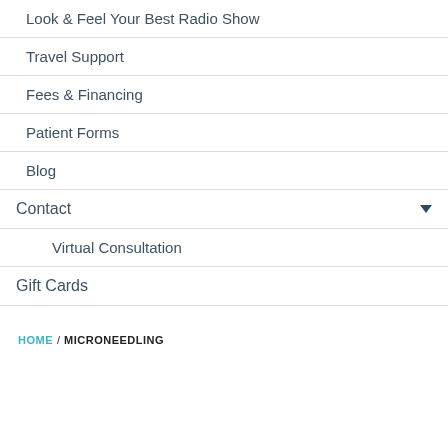Look & Feel Your Best Radio Show
Travel Support
Fees & Financing
Patient Forms
Blog
Contact
Virtual Consultation
Gift Cards
HOME / MICRONEEDLING